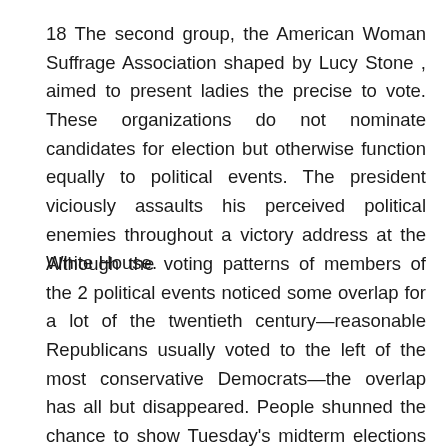18 The second group, the American Woman Suffrage Association shaped by Lucy Stone , aimed to present ladies the precise to vote. These organizations do not nominate candidates for election but otherwise function equally to political events. The president viciously assaults his perceived political enemies throughout a victory address at the White House.
Although the voting patterns of members of the 2 political events noticed some overlap for a lot of the twentieth century—reasonable Republicans usually voted to the left of the most conservative Democrats—the overlap has all but disappeared. People shunned the chance to show Tuesday's midterm elections into a referendum on President Invoice Clinton's conduct, dashing Republican hopes of gaining seats within the